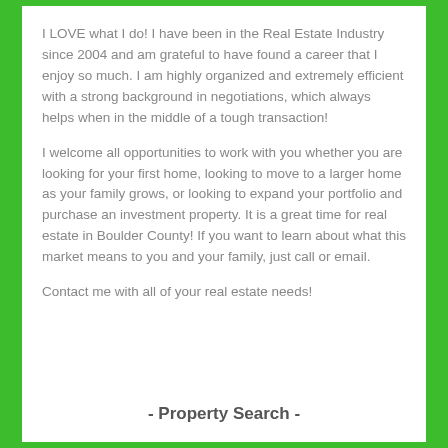I LOVE what I do! I have been in the Real Estate Industry since 2004 and am grateful to have found a career that I enjoy so much. I am highly organized and extremely efficient with a strong background in negotiations, which always helps when in the middle of a tough transaction!
I welcome all opportunities to work with you whether you are looking for your first home, looking to move to a larger home as your family grows, or looking to expand your portfolio and purchase an investment property. It is a great time for real estate in Boulder County! If you want to learn about what this market means to you and your family, just call or email.
Contact me with all of your real estate needs!
- Property Search -